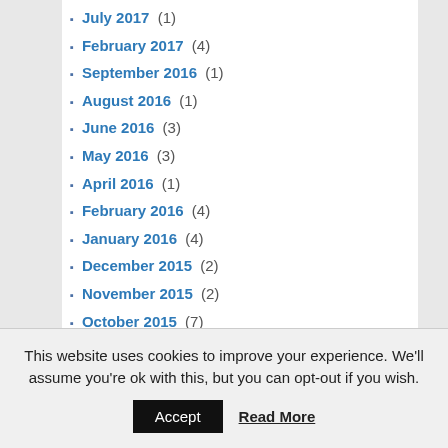July 2017 (1)
February 2017 (4)
September 2016 (1)
August 2016 (1)
June 2016 (3)
May 2016 (3)
April 2016 (1)
February 2016 (4)
January 2016 (4)
December 2015 (2)
November 2015 (2)
October 2015 (7)
September 2015 (4)
August 2015 (5)
July 2015 (4)
June 2015 (4)
This website uses cookies to improve your experience. We'll assume you're ok with this, but you can opt-out if you wish.